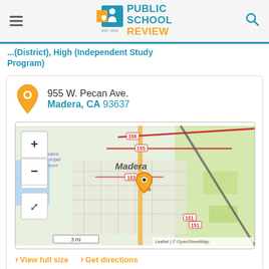Public School Review EST. 2003
...(District), High (Independent Study Program)
955 W. Pecan Ave.
Madera, CA 93637
[Figure (map): Leaflet/OpenStreetMap map centered on Madera, CA showing location marker near 955 W. Pecan Ave. Map shows Madera Municipal Airport, roads labeled 156, 155, 153, 3A, 151, and surrounding area. Scale bar shows 3 mi. Map controls include zoom in (+), zoom out (-), and fullscreen buttons.]
View full size   Get directions